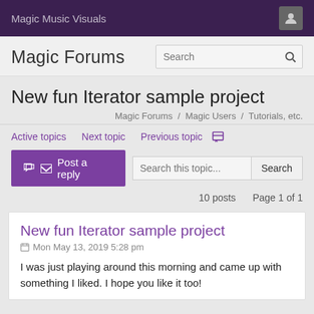Magic Music Visuals
Magic Forums
New fun Iterator sample project
Magic Forums / Magic Users / Tutorials, etc.
Active topics   Next topic   Previous topic
Post a reply   Search this topic...   Search
10 posts   Page 1 of 1
New fun Iterator sample project
Mon May 13, 2019 5:28 pm
I was just playing around this morning and came up with something I liked. I hope you like it too!